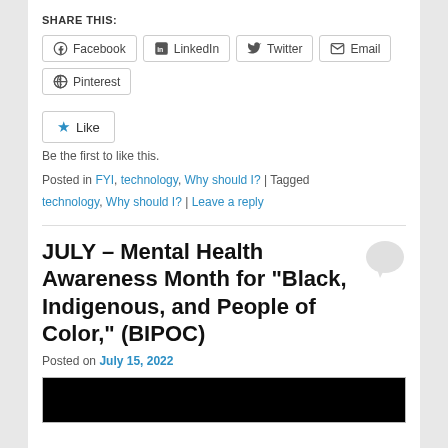SHARE THIS:
Facebook LinkedIn Twitter Email Pinterest
Like
Be the first to like this.
Posted in FYI, technology, Why should I? | Tagged technology, Why should I? | Leave a reply
JULY – Mental Health Awareness Month for “Black, Indigenous, and People of Color,” (BIPOC)
Posted on July 15, 2022
[Figure (photo): Dark thumbnail image at the bottom of the page]